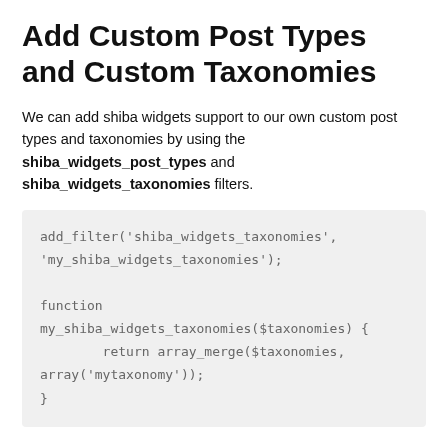Add Custom Post Types and Custom Taxonomies
We can add shiba widgets support to our own custom post types and taxonomies by using the shiba_widgets_post_types and shiba_widgets_taxonomies filters.
add_filter('shiba_widgets_taxonomies', 'my_shiba_widgets_taxonomies');

function
my_shiba_widgets_taxonomies($taxonomies) {
        return array_merge($taxonomies,
array('mytaxonomy'));
}